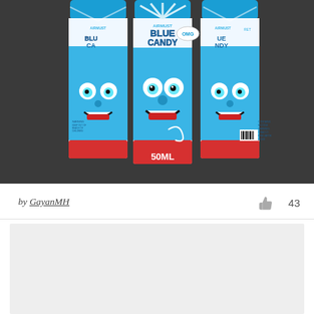[Figure (photo): Three cylindrical bottles of 'Airmust Blue Candy' e-liquid, 50ml, with a blue cartoon candy character mascot with big eyes and a smile on the label, blue caps, red base band. The product label reads AIRMUST BLUE CANDY and shows the character prominently. Background is dark gray/charcoal.]
by GayanMH  👍 43
[Figure (photo): Partially visible second image below, showing a light gray/beige background, content not visible.]